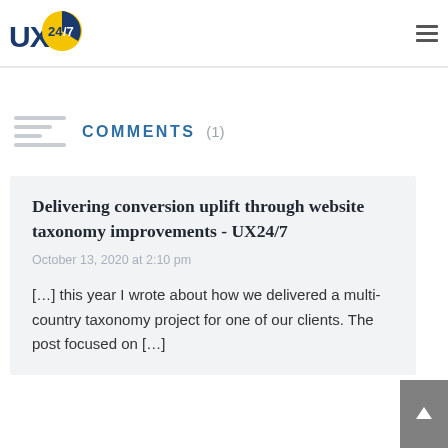UX24/7 logo and navigation
COMMENTS (1)
Delivering conversion uplift through website taxonomy improvements - UX24/7
October 13, 2020 at 2:10 pm
[…] this year I wrote about how we delivered a multi-country taxonomy project for one of our clients. The post focused on […]